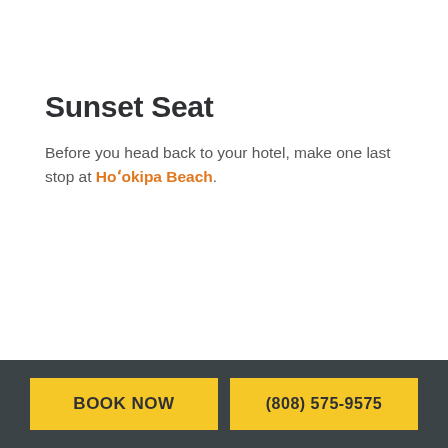Sunset Seat
Before you head back to your hotel, make one last stop at Hoʻokipa Beach.
BOOK NOW | (808) 575-9575